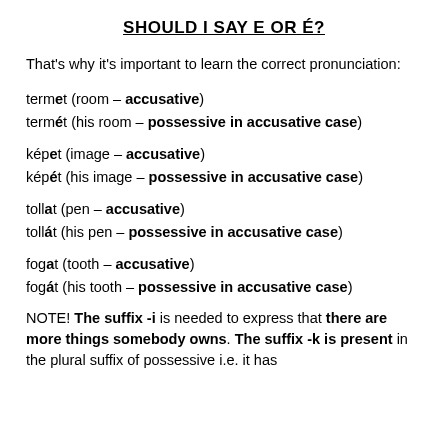SHOULD I SAY E OR É?
That's why it's important to learn the correct pronunciation:
termet (room – accusative)
termét (his room – possessive in accusative case)
képet (image – accusative)
képét (his image – possessive in accusative case)
tollat (pen – accusative)
tollát (his pen – possessive in accusative case)
fogat (tooth – accusative)
fogát (his tooth – possessive in accusative case)
NOTE! The suffix -i is needed to express that there are more things somebody owns. The suffix -k is present in the plural suffix of possessive i.e. it has...